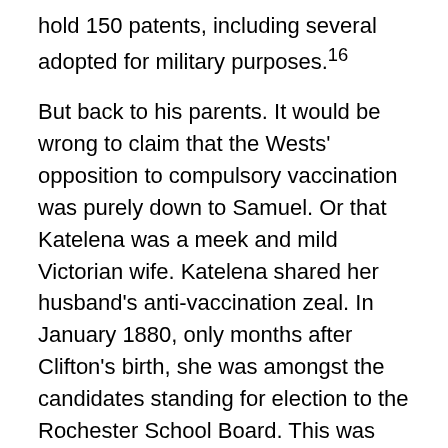hold 150 patents, including several adopted for military purposes.16
But back to his parents. It would be wrong to claim that the Wests' opposition to compulsory vaccination was purely down to Samuel. Or that Katelena was a meek and mild Victorian wife. Katelena shared her husband's anti-vaccination zeal. In January 1880, only months after Clifton's birth, she was amongst the candidates standing for election to the Rochester School Board. This was one arena where women could take a role, and it provided an opportunity for strong feminist women to show they were capable of public administration. Elected by ratepayers, the Board examined provision of elementary education in the area, and if there was insufficient provision they had the power to build and run schools. Put forward as an opponent of vaccination in Board Schools, she was duly